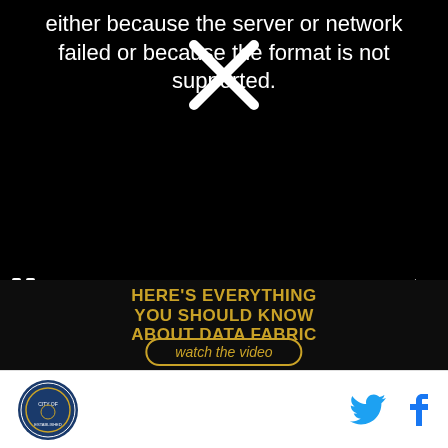[Figure (screenshot): Black video player showing error message: 'either because the server or network failed or because the format is not supported.' with an X icon overlaid, pause button bottom left, mute button bottom right]
either because the server or network failed or because the format is not supported.
[Figure (infographic): Dark textured background ad with gold bold text: HERE'S EVERYTHING YOU SHOULD KNOW ABOUT DATA FABRIC, and a gold-bordered button: watch the video]
[Figure (logo): Circular blue logo icon, possibly a city or organizational seal]
[Figure (infographic): Twitter bird icon (cyan) and Facebook f icon (blue) as social sharing buttons]